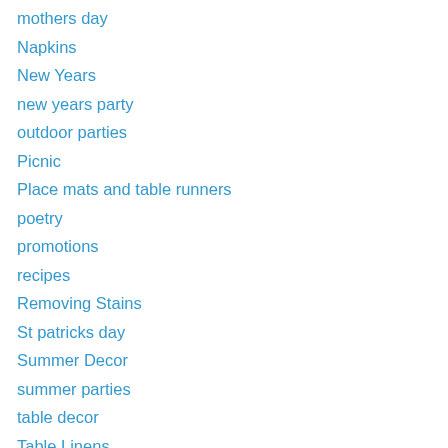mothers day
Napkins
New Years
new years party
outdoor parties
Picnic
Place mats and table runners
poetry
promotions
recipes
Removing Stains
St patricks day
Summer Decor
summer parties
table decor
Table Linens
Thanksgiving
Valentines Day
Vinyl Tablecloths
Wedding and Parties